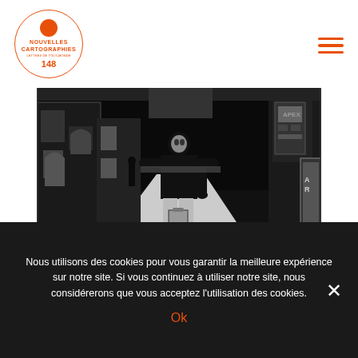NOUVELLES CARTOGRAPHIES 148
[Figure (illustration): Black and white woodcut-style illustration of a person walking through empty streets of Lille at night, surrounded by buildings and street elements, with a dramatic high-contrast ink style.]
Les rues de Lille sont vides.
Dans la nuit opaque, une silhouette d'encre
Dont proviennent des bruits sourds de coups répétés.
Nous utilisons des cookies pour vous garantir la meilleure expérience sur notre site. Si vous continuez à utiliser notre site, nous considérerons que vous acceptez l'utilisation des cookies.
Ok